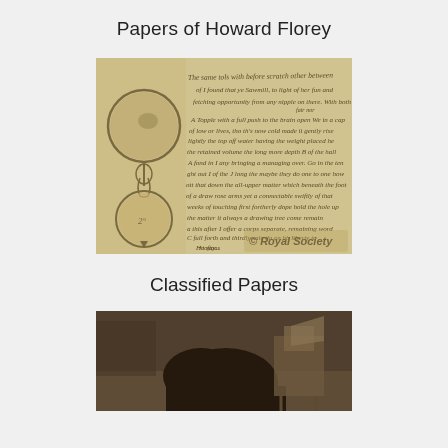Papers of Howard Florey
[Figure (photo): Aged manuscript page with handwritten cursive text in old English script, alongside ink drawings of two round ball-like objects (possibly anatomical or experimental apparatus). A watermark reads '© Royal Society'.]
Classified Papers
[Figure (photo): Black and white photograph showing a person's head from above/behind, with what appears to be laboratory equipment or furniture in the background.]